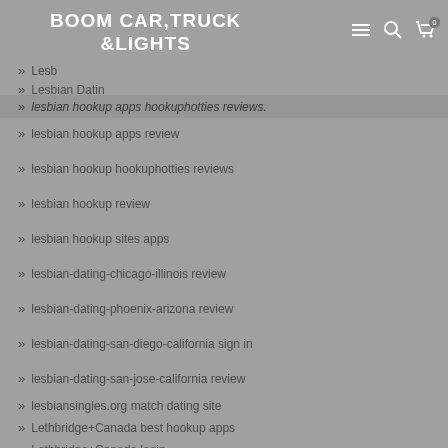BOOM CAR,TRUCK &LIGHTS 0643337474
lesbian hookup apps hookuphotties reviews
lesbian hookup apps review
lesbian hookup hookuphotties reviews
lesbian hookup review
lesbian hookup sites apps
lesbian-dating-chicago-illinois review
lesbian-dating-phoenix-arizona review
lesbian-dating-san-diego-california sign in
lesbian-dating-san-jose-california review
lesbiansingles.org match dating site
Lethbridge+Canada best hookup apps
Lethbridge+Canada login